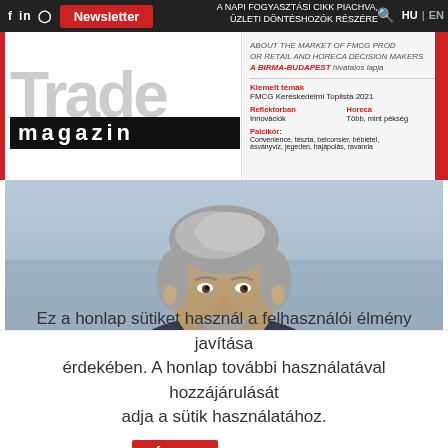f in © Newsletter | HU EN
[Figure (logo): Trade Magazin logo with red circle and dark magazin text strip]
Kiemelt témák
FMCG Kereskedelmi Toplista 2021
Reflektorban
Innovációk
Horeca
Több, mint pékség
Palcikór: Convenience, tészta, belconsier, bébiétel, ásványvíz, jegeden, hajápolás, ravanria
[Figure (photo): Portrait photo of a middle-aged man with gray-streaked hair and beard, wearing a dark suit, in a professional setting with blurred background]
Ez a honlap sütiket használ a felhasználói élmény javítása érdekében. A honlap további használatával hozzájárulását adja a sütik használatához.
Értem
Bővebben